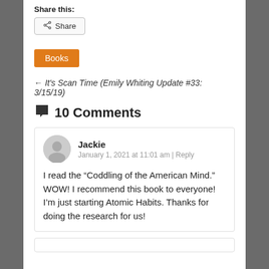Share this:
Share
Books
← It's Scan Time (Emily Whiting Update #33: 3/15/19)
10 Comments
Jackie
January 1, 2021 at 11:01 am | Reply
I read the “Coddling of the American Mind.” WOW! I recommend this book to everyone! I’m just starting Atomic Habits. Thanks for doing the research for us!